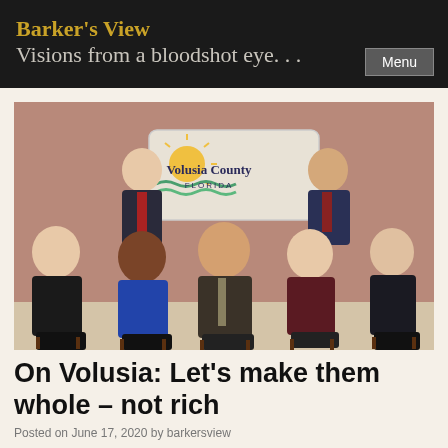Barker's View Visions from a bloodshot eye. . .
[Figure (photo): Group photo of seven Volusia County Florida officials seated and standing in front of a Volusia County Florida sign with a sun logo. Two men stand in the back row; five people sit in chairs in the front row.]
On Volusia: Let's make them whole – not rich
Posted on June 17, 2020 by barkersview